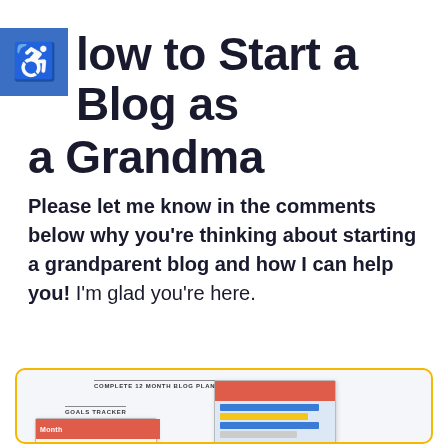How to Start a Blog as a Grandma
Please let me know in the comments below why you're thinking about starting a grandparent blog and how I can help you! I'm glad you're here.
[Figure (illustration): A promotional box with a yellow border showing document previews: a 'Complete 12 Month Blog Plan' document and a 'Goals Tracker' document with coral/red headers and colored row sections, partially overlapping.]